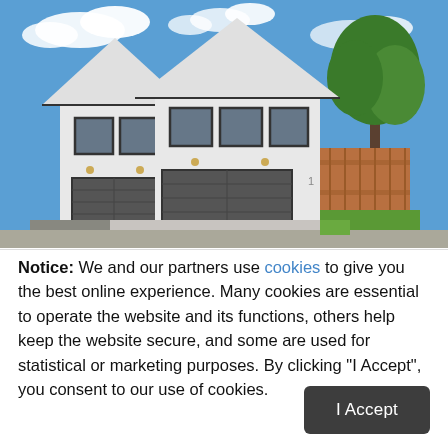[Figure (photo): Exterior photo of two modern white townhouses with dark gray garage doors, concrete driveways, a wooden fence on the right side, green lawn, and a blue sky with white clouds in the background.]
Notice: We and our partners use cookies to give you the best online experience. Many cookies are essential to operate the website and its functions, others help keep the website secure, and some are used for statistical or marketing purposes. By clicking "I Accept", you consent to our use of cookies.
I Accept